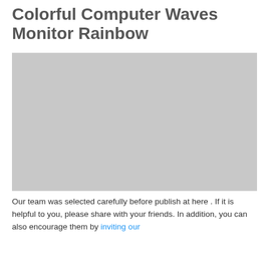Colorful Computer Waves Monitor Rainbow
[Figure (photo): Large placeholder image area with light gray background representing a colorful computer waves monitor rainbow image]
Our team was selected carefully before publish at here . If it is helpful to you, please share with your friends. In addition, you can also encourage them by inviting our